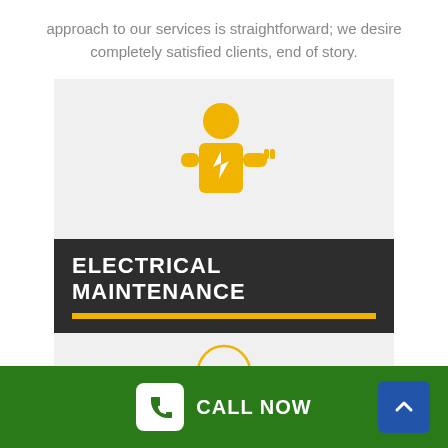approach to our services is straightforward; we desire completely satisfied clients, end of story.
[Figure (illustration): Yellow icon of an electrician with a plug/fork symbol and lightning bolt]
ELECTRICAL MAINTENANCE
[Figure (illustration): Outlined lightbulb icon with decorative filament pattern in yellow/orange]
CALL NOW